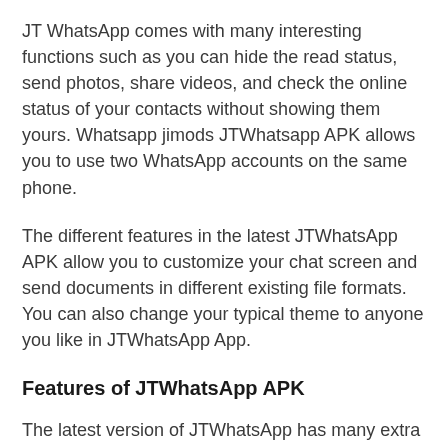JT WhatsApp comes with many interesting functions such as you can hide the read status, send photos, share videos, and check the online status of your contacts without showing them yours. Whatsapp jimods JTWhatsapp APK allows you to use two WhatsApp accounts on the same phone.
The different features in the latest JTWhatsApp APK allow you to customize your chat screen and send documents in different existing file formats. You can also change your typical theme to anyone you like in JTWhatsApp App.
Features of JTWhatsApp APK
The latest version of JTWhatsApp has many extra features that you will get when you download the new version of this app on your android phones.
Anti-ban: JT WhatsApp provides you with anti-ban features that protect you from getting banned by WhatsApp. This